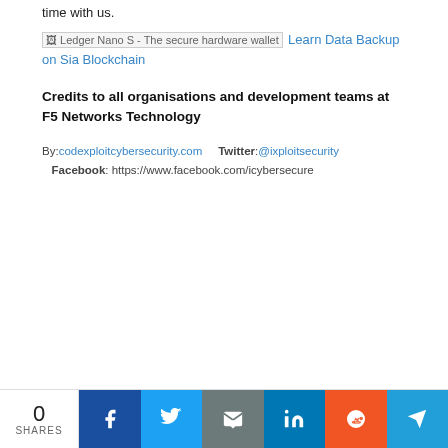time with us.
[Figure (other): Broken image placeholder for Ledger Nano S - The secure hardware wallet, followed by link text 'Learn Data Backup on Sia Blockchain']
Credits to all organisations and development teams at F5 Networks Technology
By: codexploitcybersecurity.com   Twitter: @ixploitsecurity
   Facebook: https://www.facebook.com/icybersecure
[Figure (infographic): Social share bar with 0 SHARES, Facebook, Twitter, Email, LinkedIn, Reddit, Telegram buttons]